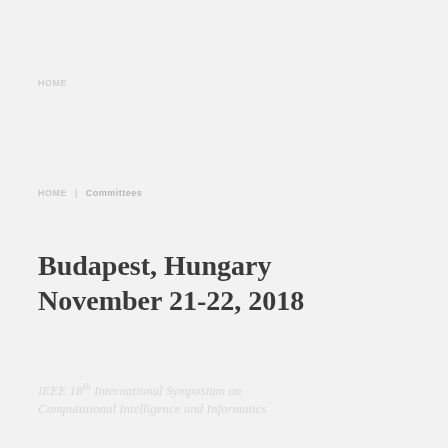HOME
HOME | Committees
Budapest, Hungary November 21-22, 2018
IEEE 18th International Symposium on Computational Intelligence and Informatics